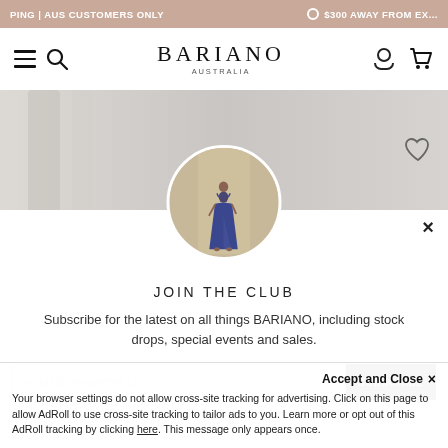PING | AUS CUSTOMERS ONLY   $300 AWAY FROM EX...
[Figure (logo): BARIANO AUSTRALIA logo with hamburger menu, search, account and cart icons]
[Figure (photo): Hero image of an architectural interior with columns. Overlaid circular photo of a woman in a blue satin gown. Heart/favorite icon on the right.]
JOIN THE CLUB
Subscribe for the latest on all things BARIANO, including stock drops, special events and sales.
email@newsletter.com
Accept and Close ×
Your browser settings do not allow cross-site tracking for advertising. Click on this page to allow AdRoll to use cross-site tracking to tailor ads to you. Learn more or opt out of this AdRoll tracking by clicking here. This message only appears once.